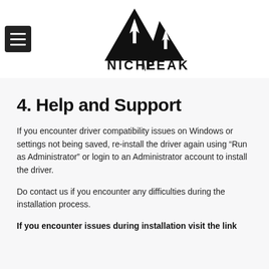[Figure (logo): Niche Peak logo — two black mountain triangles with white arrow shapes inside, text NICHE PEAK below]
4. Help and Support
If you encounter driver compatibility issues on Windows or settings not being saved, re-install the driver again using “Run as Administrator” or login to an Administrator account to install the driver.
Do contact us if you encounter any difficulties during the installation process.
If you encounter issues during installation visit the link